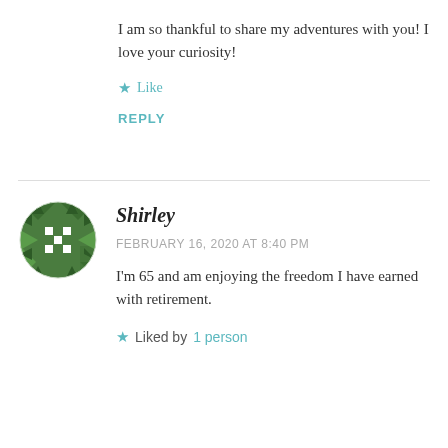I am so thankful to share my adventures with you! I love your curiosity!
★ Like
REPLY
[Figure (illustration): Green geometric/mosaic pattern avatar for user Shirley]
Shirley
FEBRUARY 16, 2020 AT 8:40 PM
I'm 65 and am enjoying the freedom I have earned with retirement.
★ Liked by 1 person